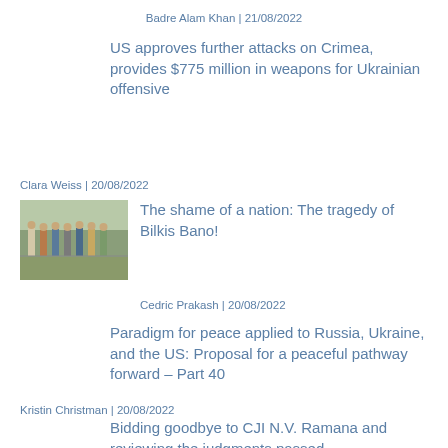Badre Alam Khan | 21/08/2022
US approves further attacks on Crimea, provides $775 million in weapons for Ukrainian offensive
Clara Weiss | 20/08/2022
[Figure (photo): Group of people standing outdoors near a fence with trees in background]
The shame of a nation: The tragedy of Bilkis Bano!
Cedric Prakash | 20/08/2022
Paradigm for peace applied to Russia, Ukraine, and the US: Proposal for a peaceful pathway forward – Part 40
Kristin Christman | 20/08/2022
Bidding goodbye to CJI N.V. Ramana and reviewing the judgments passed